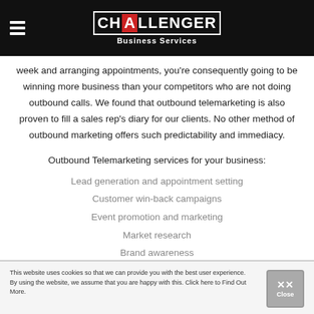CHALLENGER Business Services
week and arranging appointments, you're consequently going to be winning more business than your competitors who are not doing outbound calls. We found that outbound telemarketing is also proven to fill a sales rep's diary for our clients. No other method of outbound marketing offers such predictability and immediacy.
Outbound Telemarketing services for your business:
Lead generation and appointment setting
Customer win-back campaigns
Event promotion and marketing
Market research
Brand awareness
This website uses cookies so that we can provide you with the best user experience. By using the website, we assume that you are happy with this. Click here to Find Out More.